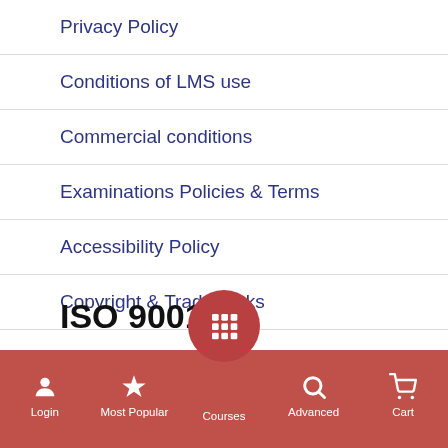Privacy Policy
Conditions of LMS use
Commercial conditions
Examinations Policies & Terms
Accessibility Policy
Copyright & Trademarks
ISO 9001
[Figure (logo): CSQ and IQNet Certified Management System logos side by side]
CERTIFIED ISO  9001
Login | Most Popular | Courses | Advanced | Cart